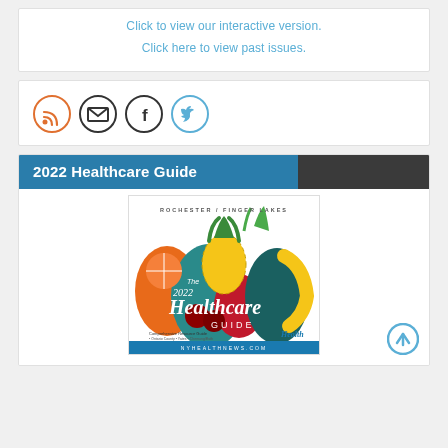Click to view our interactive version.
Click here to view past issues.
[Figure (infographic): Social media icons: RSS (orange circle), Email (dark circle with envelope), Facebook (dark circle with f), Twitter (blue circle with bird)]
2022 Healthcare Guide
[Figure (photo): Cover of the 2022 Healthcare Guide for Rochester / Finger Lakes region, showing colorful fruits and vegetables with 'Healthcare Guide' text overlay and Health magazine logo at bottom, nyHealthNews.com]